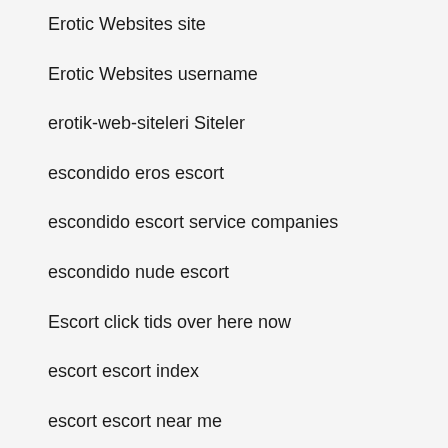Erotic Websites site
Erotic Websites username
erotik-web-siteleri Siteler
escondido eros escort
escondido escort service companies
escondido nude escort
Escort click tids over here now
escort escort index
escort escort near me
escort escort service
escort escort services near me
established men ne demek